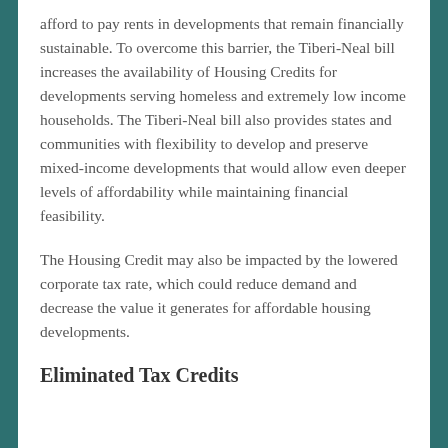afford to pay rents in developments that remain financially sustainable. To overcome this barrier, the Tiberi-Neal bill increases the availability of Housing Credits for developments serving homeless and extremely low income households. The Tiberi-Neal bill also provides states and communities with flexibility to develop and preserve mixed-income developments that would allow even deeper levels of affordability while maintaining financial feasibility.
The Housing Credit may also be impacted by the lowered corporate tax rate, which could reduce demand and decrease the value it generates for affordable housing developments.
Eliminated Tax Credits